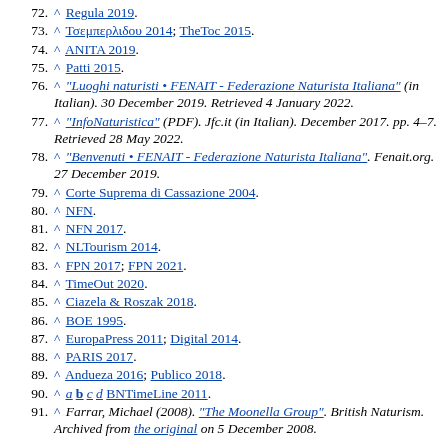72. ^ Regula 2019.
73. ^ Τσεμπερλιδου 2014; TheToc 2015.
74. ^ ANITA 2019.
75. ^ Patti 2015.
76. ^ "Luoghi naturisti • FENAIT - Federazione Naturista Italiana" (in Italian). 30 December 2019. Retrieved 4 January 2022.
77. ^ "InfoNaturistica" (PDF). Jfc.it (in Italian). December 2017. pp. 4–7. Retrieved 28 May 2022.
78. ^ "Benvenuti • FENAIT - Federazione Naturista Italiana". Fenait.org. 27 December 2019.
79. ^ Corte Suprema di Cassazione 2004.
80. ^ NFN.
81. ^ NFN 2017.
82. ^ NLTourism 2014.
83. ^ FPN 2017; FPN 2021.
84. ^ TimeOut 2020.
85. ^ Ciazela & Roszak 2018.
86. ^ BOE 1995.
87. ^ EuropaPress 2011; Digital 2014.
88. ^ PARIS 2017.
89. ^ Andueza 2016; Publico 2018.
90. ^ a b c d BNTimeLine 2011.
91. ^ Farrar, Michael (2008). "The Moonella Group". British Naturism. Archived from the original on 5 December 2008.